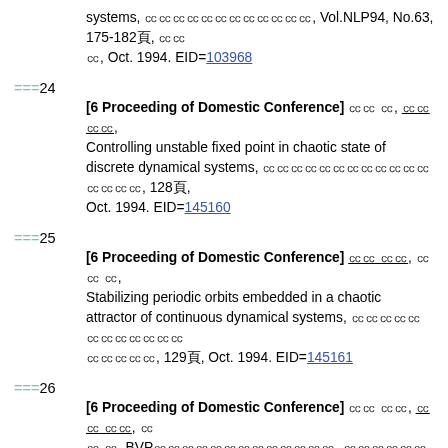systems, [Japanese text], Vol.NLP94, No.63, 175-182頁, [Japanese], Oct. 1994. EID=103968
===24
[6 Proceeding of Domestic Conference] [Japanese names], Controlling unstable fixed point in chaotic state of discrete dynamical systems, [Japanese conference], 128頁, Oct. 1994. EID=145160
===25
[6 Proceeding of Domestic Conference] [Japanese names], Stabilizing periodic orbits embedded in a chaotic attractor of continuous dynamical systems, [Japanese conference], 129頁, Oct. 1994. EID=145161
===26
[6 Proceeding of Domestic Conference] [Japanese names], BVP[Japanese], [Japanese conference], 13頁, Oct. 1994. EID=145162